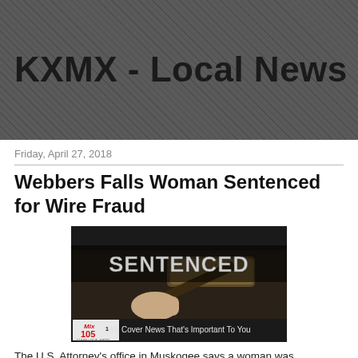KXMX - Local News
Friday, April 27, 2018
Webbers Falls Woman Sentenced for Wire Fraud
[Figure (photo): News image showing a gavel with the word SENTENCED overlaid in large text, with Mix 105.1 logo and tagline 'We Cover News That's Important To You']
The U.S. Attorney's office in Muskogee says a woman was sentenced for...